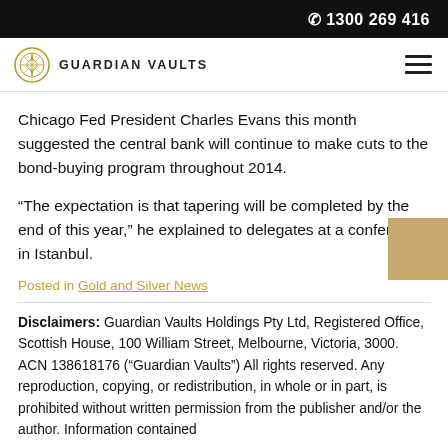☎ 1300 269 416
[Figure (logo): Guardian Vaults logo with circular compass/seal icon and text 'GUARDIAN VAULTS']
Chicago Fed President Charles Evans this month suggested the central bank will continue to make cuts to the bond-buying program throughout 2014.
“The expectation is that tapering will be completed by the end of this year,” he explained to delegates at a conference in Istanbul.
Posted in Gold and Silver News
Disclaimers: Guardian Vaults Holdings Pty Ltd, Registered Office, Scottish House, 100 William Street, Melbourne, Victoria, 3000. ACN 138618176 (“Guardian Vaults”) All rights reserved. Any reproduction, copying, or redistribution, in whole or in part, is prohibited without written permission from the publisher and/or the author. Information contained